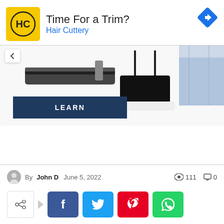[Figure (screenshot): Hair Cuttery advertisement banner with logo, 'Time For a Trim?' headline, navigation icon, and product images with LEARN button]
By John D   June 5, 2022   111   0
[Figure (infographic): Social share buttons: share icon, Facebook, Twitter, Pinterest, WhatsApp]